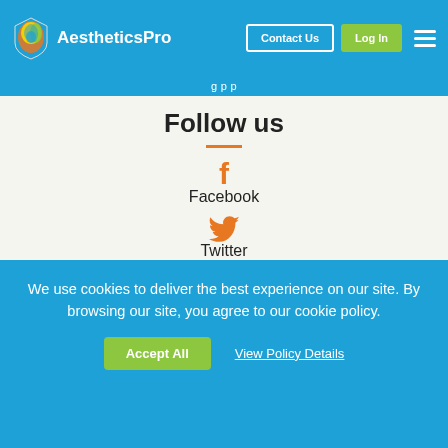AestheticsPro | Contact Us | Log In
Follow us
Facebook
Twitter
Instagram
Youtube
Linkedin
We use cookies to deliver the best experience on our site. By browsing our site, you agree to our cookie policy.
Accept All
View Policy Details